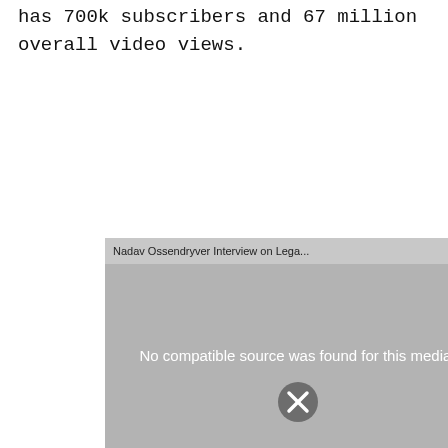has 700k subscribers and 67 million overall video views.
[Figure (screenshot): Embedded video player showing 'Nadav Ossendryver Interview on Lega...' with a close button (X) in the upper right. The video body displays the message 'No compatible source was found for this media.' overlaid on a faded background image. An X dismiss button is visible at the bottom center.]